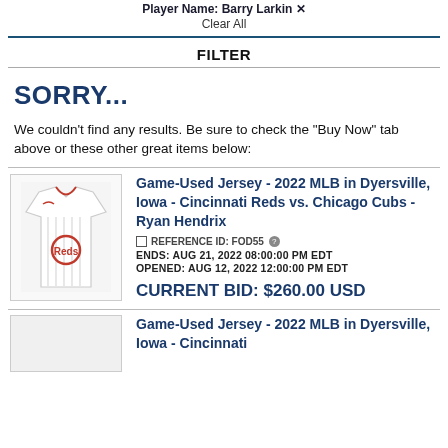Player Name: Barry Larkin ✕
Clear All
FILTER
SORRY...
We couldn't find any results. Be sure to check the "Buy Now" tab above or these other great items below:
Game-Used Jersey - 2022 MLB in Dyersville, Iowa - Cincinnati Reds vs. Chicago Cubs - Ryan Hendrix
□ REFERENCE ID: FOD55 ?
ENDS: AUG 21, 2022 08:00:00 PM EDT
OPENED: AUG 12, 2022 12:00:00 PM EDT
CURRENT BID: $260.00 USD
Game-Used Jersey - 2022 MLB in Dyersville, Iowa - Cincinnati